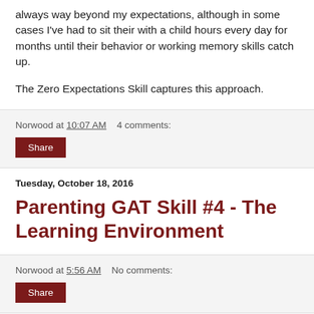always way beyond my expectations, although in some cases I've had to sit their with a child hours every day for months until their behavior or working memory skills catch up.
The Zero Expectations Skill captures this approach.
Norwood at 10:07 AM   4 comments:
Share
Tuesday, October 18, 2016
Parenting GAT Skill #4 - The Learning Environment
Norwood at 5:56 AM   No comments:
Share